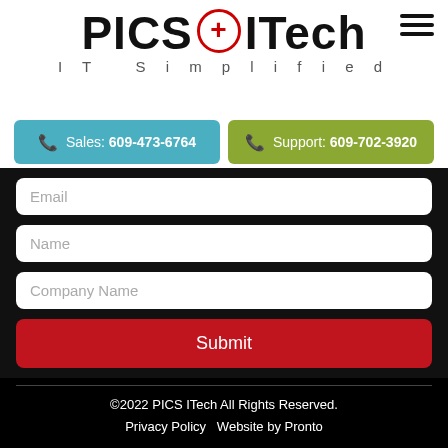[Figure (logo): PICS ITech logo with red plus sign in circle, tagline IT Simplified]
Sales: 609-473-6764
Support: 609-702-3920
Email
Name
Company Name
Submit
©2022 PICS ITech All Rights Reserved. Privacy Policy  Website by Pronto